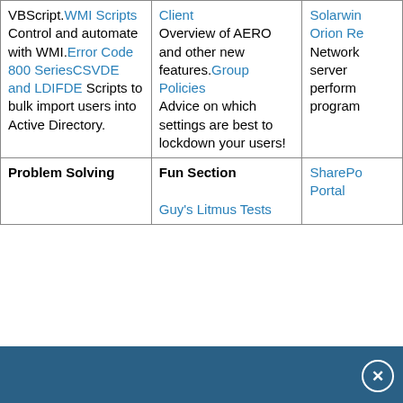|  |  |  |
| --- | --- | --- |
| VBScript.WMI Scripts
Control and automate with WMI.Error Code 800 SeriesCSVDE and LDIFDE Scripts to bulk import users into Active Directory. | Client
Overview of AERO and other new features.Group Policies
Advice on which settings are best to lockdown your users! | Solarwin Orion Re
Network server perform program |
| Problem Solving | Fun Section
Guy's Litmus Tests | SharePo Portal |
[Figure (other): Dark blue footer bar with close (x) button]